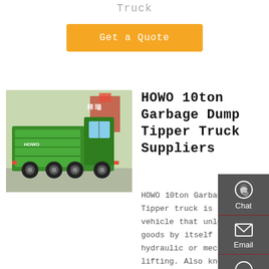Truck
[Figure (other): Orange 'Get a Quote' button]
[Figure (photo): Green HOWO 10ton Garbage Dump Tipper Truck photo, side/front view in outdoor setting]
HOWO 10ton Garbage Dump Tipper Truck Suppliers
HOWO 10ton Garbage Dump Tipper truck is a vehicle that unloads goods by itself through hydraulic or mechanical lifting. Also known as dumper truck. It is composed of automobile
[Figure (infographic): Right sidebar with Chat, Email, Contact, and Top icons on dark grey background]